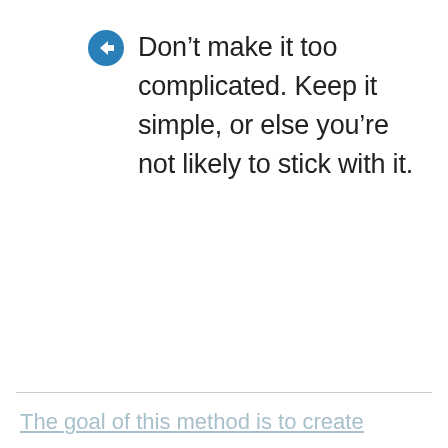Don’t make it too complicated. Keep it simple, or else you’re not likely to stick with it.
The goal of this method is to create